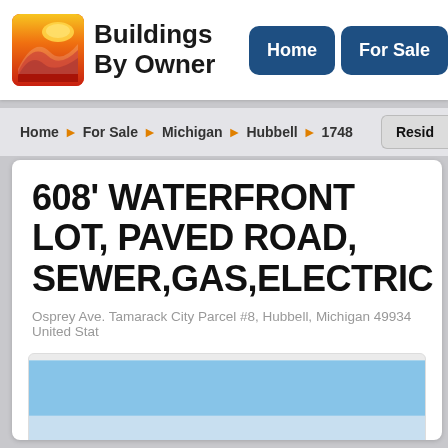[Figure (logo): Buildings By Owner logo with orange/red layered mountain icon and bold black text]
Home | For Sale
Home ▶ For Sale ▶ Michigan ▶ Hubbell ▶ 1748 | Resid...
608' WATERFRONT LOT, PAVED ROAD, SEWER,GAS,ELECTRIC
Osprey Ave. Tamarack City Parcel #8, Hubbell, Michigan 49934 United Stat...
[Figure (photo): Landscape photo showing an open field under a blue sky, partially visible at bottom of page]